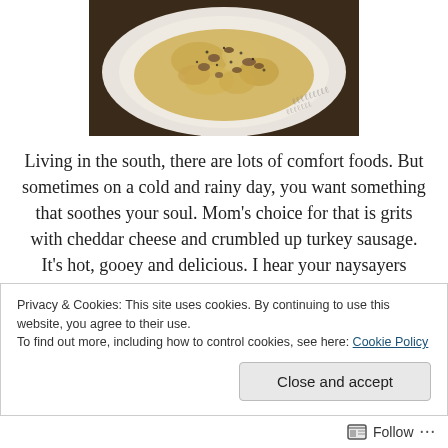[Figure (photo): Photo of a white plate/bowl containing grits with cheddar cheese and crumbled turkey sausage, topped with black pepper, viewed from above on a dark background.]
Living in the south, there are lots of comfort foods. But sometimes on a cold and rainy day, you want something that soothes your soul. Mom's choice for that is grits with cheddar cheese and crumbled up turkey sausage. It's hot, gooey and delicious. I hear your naysayers turning your
Privacy & Cookies: This site uses cookies. By continuing to use this website, you agree to their use.
To find out more, including how to control cookies, see here: Cookie Policy
Close and accept
Follow